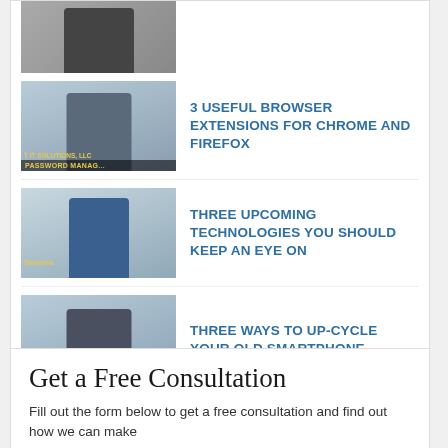[Figure (photo): Thumbnail of person in suit (partial, top only)]
3 USEFUL BROWSER EXTENSIONS FOR CHROME AND FIREFOX
[Figure (photo): Video thumbnail: person in office setting with PASSWORD MANAGER overlay text]
THREE UPCOMING TECHNOLOGIES YOU SHOULD KEEP AN EYE ON
[Figure (photo): Video thumbnail: person in blue shirt in office setting]
THREE WAYS TO UP-CYCLE YOUR OLD SMARTPHONE
[Figure (photo): Video thumbnail: person in suit with UNIVERSAL PREMI overlay, IT SOLUTIONS LLC]
THREE GREAT ERGONOMIC TIPS FOR YOUR HOME OFFICE
[Figure (photo): Video thumbnail: person with ADJUST SCREEN overlay, IT SOLUTIONS LLC]
Get a Free Consultation
Fill out the form below to get a free consultation and find out how we can make